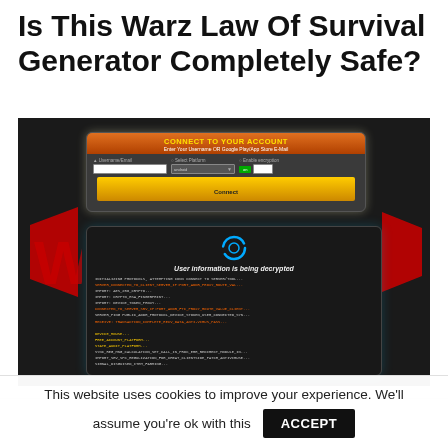Is This Warz Law Of Survival Generator Completely Safe?
[Figure (screenshot): Screenshot of a game hack/generator tool interface showing two panels: a 'Connect To Your Account' form with username field, platform selector, encryption toggle, and Connect button; and below it a 'User information is being decrypted' panel with a loading icon and scrolling green/orange/white code lines on a dark background, set against a dark game background with red splashes.]
This website uses cookies to improve your experience. We'll assume you're ok with this
ACCEPT